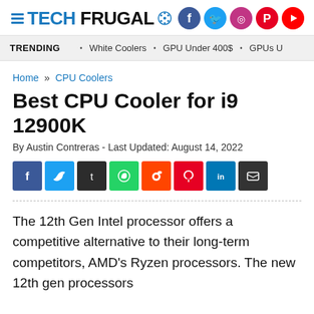TECH FRUGAL
TRENDING • White Coolers • GPU Under 400$ • GPUs U
Home » CPU Coolers
Best CPU Cooler for i9 12900K
By Austin Contreras - Last Updated: August 14, 2022
[Figure (other): Social share buttons: Facebook, Twitter, Tumblr, WhatsApp, Reddit, Pinterest, LinkedIn, Email]
The 12th Gen Intel processor offers a competitive alternative to their long-term competitors, AMD's Ryzen processors. The new 12th gen processors